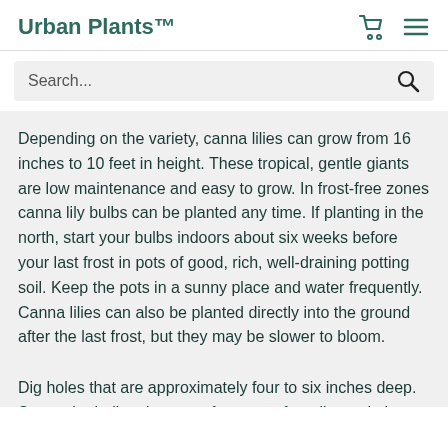Urban Plants™
Search...
Depending on the variety, canna lilies can grow from 16 inches to 10 feet in height. These tropical, gentle giants are low maintenance and easy to grow. In frost-free zones canna lily bulbs can be planted any time. If planting in the north, start your bulbs indoors about six weeks before your last frost in pots of good, rich, well-draining potting soil. Keep the pots in a sunny place and water frequently. Canna lilies can also be planted directly into the ground after the last frost, but they may be slower to bloom.
Dig holes that are approximately four to six inches deep. Space the bulbs about two feet apart for taller varieties, and one foot apart for smaller cultivars. Add a little peat